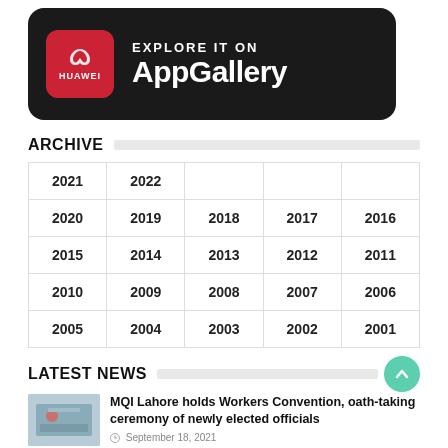[Figure (logo): Huawei AppGallery banner — black rounded rectangle with Huawei red icon and text 'EXPLORE IT ON AppGallery' in white]
ARCHIVE
| 2021 | 2022 |  |  |  |
| 2020 | 2019 | 2018 | 2017 | 2016 |
| 2015 | 2014 | 2013 | 2012 | 2011 |
| 2010 | 2009 | 2008 | 2007 | 2006 |
| 2005 | 2004 | 2003 | 2002 | 2001 |
LATEST NEWS
MQI Lahore holds Workers Convention, oath-taking ceremony of newly elected officials
September 18, 2021